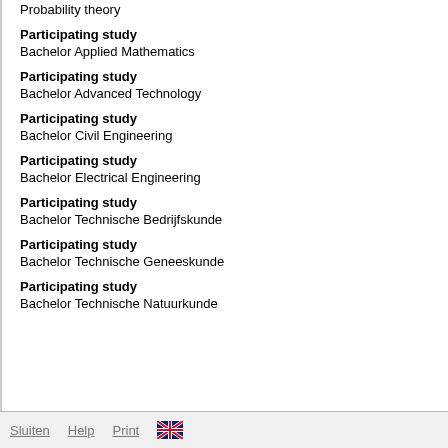Probability theory
Participating study
Bachelor Applied Mathematics
Participating study
Bachelor Advanced Technology
Participating study
Bachelor Civil Engineering
Participating study
Bachelor Electrical Engineering
Participating study
Bachelor Technische Bedrijfskunde
Participating study
Bachelor Technische Geneeskunde
Participating study
Bachelor Technische Natuurkunde
Sluiten   Help   Print